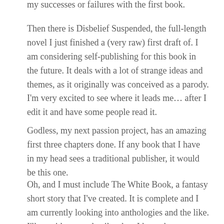my successes or failures with the first book.
Then there is Disbelief Suspended, the full-length novel I just finished a (very raw) first draft of. I am considering self-publishing for this book in the future. It deals with a lot of strange ideas and themes, as it originally was conceived as a parody. I'm very excited to see where it leads me… after I edit it and have some people read it.
Godless, my next passion project, has an amazing first three chapters done. If any book that I have in my head sees a traditional publisher, it would be this one.
Oh, and I must include The White Book, a fantasy short story that I've created. It is complete and I am currently looking into anthologies and the like. I'll provide more details when I have them.